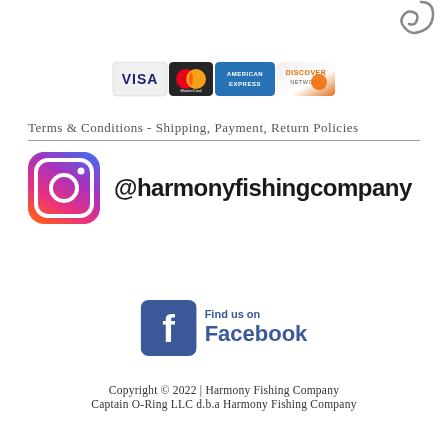[Figure (logo): Partial cursive hook/fishing logo in top right corner]
[Figure (logo): Payment method logos: VISA, MasterCard, American Express, Discover Network]
Terms & Conditions - Shipping, Payment, Return Policies
[Figure (logo): Instagram logo icon with handle @harmonyfishingcompany]
[Figure (logo): Find us on Facebook logo]
Copyright © 2022 | Harmony Fishing Company
Captain O-Ring LLC d.b.a Harmony Fishing Company